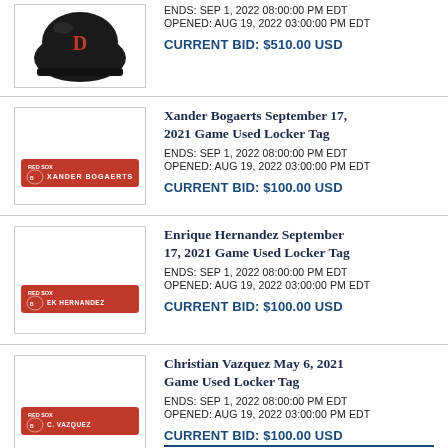[Figure (photo): Boston Red Sox helmet item photo (partial, top of page)]
ENDS: SEP 1, 2022 08:00:00 PM EDT
OPENED: AUG 19, 2022 03:00:00 PM EDT
CURRENT BID: $510.00 USD
[Figure (photo): Xander Bogaerts locker tag - red Boston Red Sox locker name tag]
Xander Bogaerts September 17, 2021 Game Used Locker Tag
ENDS: SEP 1, 2022 08:00:00 PM EDT
OPENED: AUG 19, 2022 03:00:00 PM EDT
CURRENT BID: $100.00 USD
[Figure (photo): Enrique Hernandez locker tag - red Boston Red Sox locker name tag]
Enrique Hernandez September 17, 2021 Game Used Locker Tag
ENDS: SEP 1, 2022 08:00:00 PM EDT
OPENED: AUG 19, 2022 03:00:00 PM EDT
CURRENT BID: $100.00 USD
[Figure (photo): Christian Vazquez locker tag - red Boston Red Sox locker name tag]
Christian Vazquez May 6, 2021 Game Used Locker Tag
ENDS: SEP 1, 2022 08:00:00 PM EDT
OPENED: AUG 19, 2022 03:00:00 PM EDT
CURRENT BID: $100.00 USD